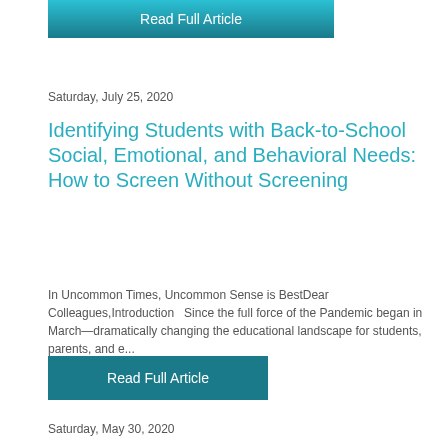[Figure (other): Read Full Article button (teal/dark teal background, white text) at top of page]
Saturday, July 25, 2020
Identifying Students with Back-to-School Social, Emotional, and Behavioral Needs: How to Screen Without Screening
In Uncommon Times, Uncommon Sense is BestDear Colleagues,Introduction   Since the full force of the Pandemic began in March—dramatically changing the educational landscape for students, parents, and e...
[Figure (other): Read Full Article button (teal/dark teal background, white text)]
Saturday, May 30, 2020